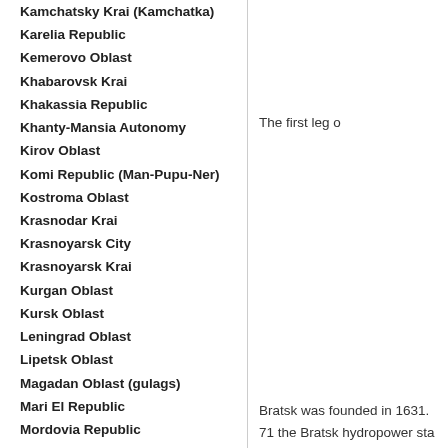Kamchatsky Krai (Kamchatka)
Karelia Republic
Kemerovo Oblast
Khabarovsk Krai
Khakassia Republic
Khanty-Mansia Autonomy
Kirov Oblast
Komi Republic (Man-Pupu-Ner)
Kostroma Oblast
Krasnodar Krai
Krasnoyarsk City
Krasnoyarsk Krai
Kurgan Oblast
Kursk Oblast
Leningrad Oblast
Lipetsk Oblast
Magadan Oblast (gulags)
Mari El Republic
Mordovia Republic
Moscow City
Moscow Oblast
Murmansk Oblast
Nenetsia Autonomy
Nizhny Novgorod Oblast
Novgorod Oblast
The first leg o
Bratsk was founded in 1631. 71 the Bratsk hydropower sta town itself is devoid of any at